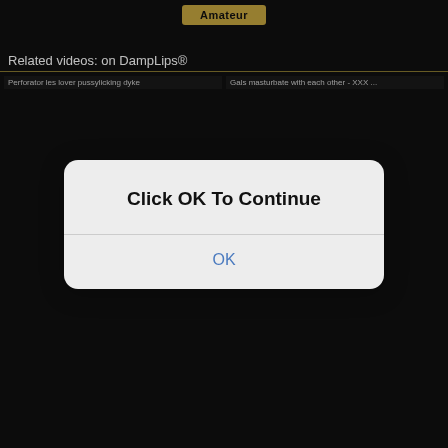Amateur
Related videos: on DampLips®
[Figure (screenshot): Video thumbnail left: 8:00 duration, title: Perforator les lover pussylicking dyke]
[Figure (screenshot): Video thumbnail right: 1:30 duration, title: Gals masturbate with each other - XXX ...]
[Figure (screenshot): Video thumbnail left bottom: 10:00 duration, two women on sofa]
[Figure (screenshot): Video thumbnail right bottom: 10:10 duration, man and woman]
Click OK To Continue
OK